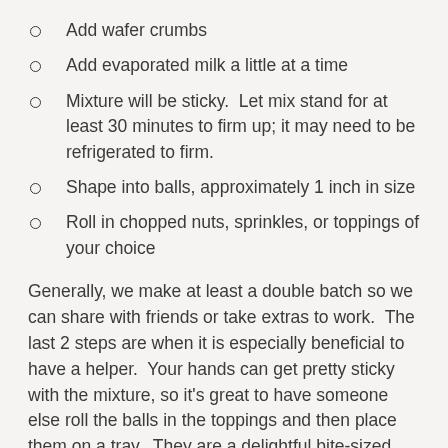Add wafer crumbs
Add evaporated milk a little at a time
Mixture will be sticky.  Let mix stand for at least 30 minutes to firm up; it may need to be refrigerated to firm.
Shape into balls, approximately 1 inch in size
Roll in chopped nuts, sprinkles, or toppings of your choice
Generally, we make at least a double batch so we can share with friends or take extras to work.  The last 2 steps are when it is especially beneficial to have a helper.  Your hands can get pretty sticky with the mixture, so it’s great to have someone else roll the balls in the toppings and then place them on a tray.  They are a delightful bite-sized dessert perfect for classroom parties, cookie exchanges, or to keep on